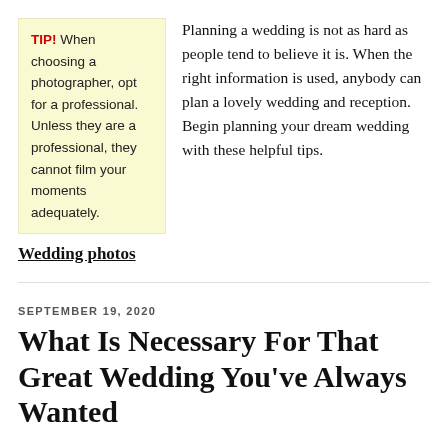TIP! When choosing a photographer, opt for a professional. Unless they are a professional, they cannot film your moments adequately.
Planning a wedding is not as hard as people tend to believe it is. When the right information is used, anybody can plan a lovely wedding and reception. Begin planning your dream wedding with these helpful tips.
Wedding photos
SEPTEMBER 19, 2020
What Is Necessary For That Great Wedding You’ve Always Wanted
TIP! Practice walking down the aisle before
A wedding should be a joyous occasion for everyone involved.